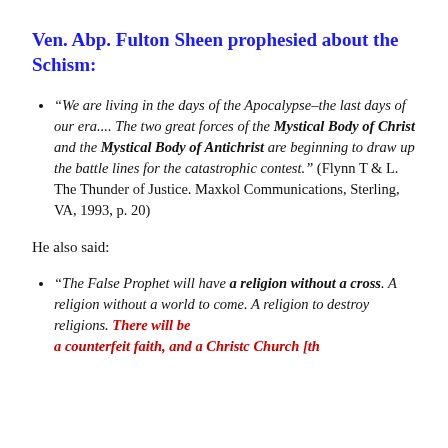Ven. Abp. Fulton Sheen prophesied about the Schism:
“We are living in the days of the Apocalypse–the last days of our era.... The two great forces of the Mystical Body of Christ and the Mystical Body of Antichrist are beginning to draw up the battle lines for the catastrophic contest.” (Flynn T & L. The Thunder of Justice. Maxkol Communications, Sterling, VA, 1993, p. 20)
He also said:
“The False Prophet will have a religion without a cross. A religion without a world to come. A religion to destroy religions. There will be a counterfeit church. Christ’s Church [the...